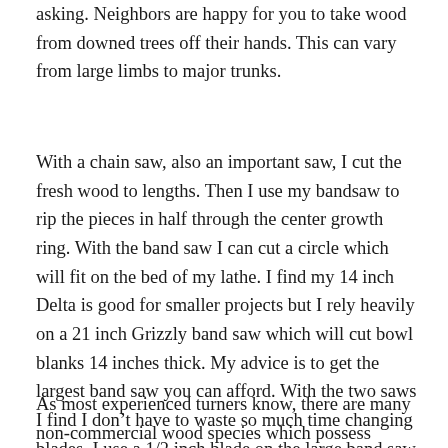asking. Neighbors are happy for you to take wood from downed trees off their hands. This can vary from large limbs to major trunks.
With a chain saw, also an important saw, I cut the fresh wood to lengths. Then I use my bandsaw to rip the pieces in half through the center growth ring. With the band saw I can cut a circle which will fit on the bed of my lathe. I find my 14 inch Delta is good for smaller projects but I rely heavily on a 21 inch Grizzly band saw which will cut bowl blanks 14 inches thick. My advice is to get the largest band saw you can afford. With the two saws I find I don't have to waste so much time changing blades. I use a 1/2 inch blade on the large band saw and a 1/4 inch blade of the smaller saw. The thinner the blade the tighter radius it will cut.
As most experienced turners know, there are many non-commercial wood species which possess beautiful grain patterns